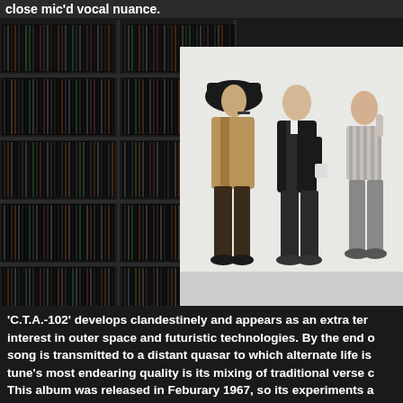close mic'd vocal nuance.
[Figure (photo): Left half: dark bookshelves densely packed with vinyl records. Right half: three young men in 1960s fashion posing against a white wall — one wearing a black wide-brimmed hat and tan jacket, one in a black suit holding a cup, one in a striped shirt and grey trousers.]
'C.T.A.-102' develops clandestinely and appears as an extra ter... interest in outer space and futuristic technologies. By the end o... song is transmitted to a distant quasar to which alternate life is... tune's most endearing quality is its mixing of traditional verse c... This album was released in Feburary 1967, so its experiments a...